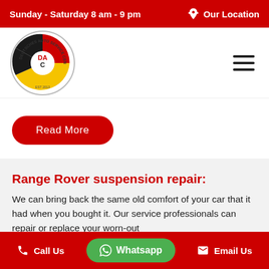Sunday - Saturday 8 am - 9 pm | Our Location
[Figure (logo): Deutsches Auto Service Center circular logo with DAC letters in black, red and yellow]
Read More
Range Rover suspension repair:
We can bring back the same old comfort of your car that it had when you bought it. Our service professionals can repair or replace your worn-out
Call Us | Whatsapp | Email Us